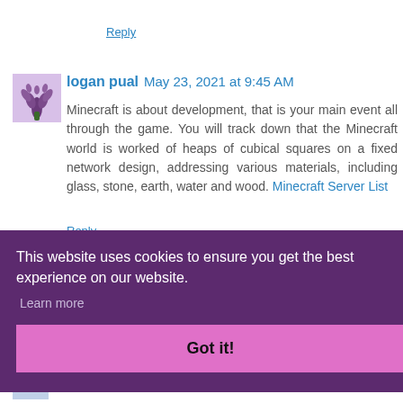Reply
logan pual  May 23, 2021 at 9:45 AM
Minecraft is about development, that is your main event all through the game. You will track down that the Minecraft world is worked of heaps of cubical squares on a fixed network design, addressing various materials, including glass, stone, earth, water and wood. Minecraft Server List
Reply
This website uses cookies to ensure you get the best experience on our website.
Learn more
Got it!
lsono  May 27, 2021 at 5:16 PM